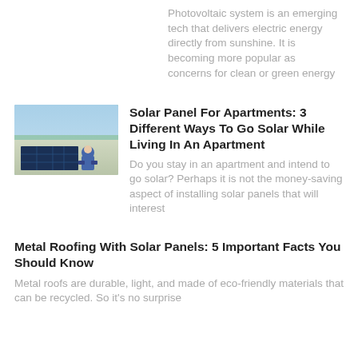Photovoltaic system is an emerging tech that delivers electric energy directly from sunshine. It is becoming more popular as concerns for clean or green energy
[Figure (photo): Person installing solar panels on a rooftop, viewed from above]
Solar Panel For Apartments: 3 Different Ways To Go Solar While Living In An Apartment
Do you stay in an apartment and intend to go solar? Perhaps it is not the money-saving aspect of installing solar panels that will interest
Metal Roofing With Solar Panels: 5 Important Facts You Should Know
Metal roofs are durable, light, and made of eco-friendly materials that can be recycled. So it's no surprise